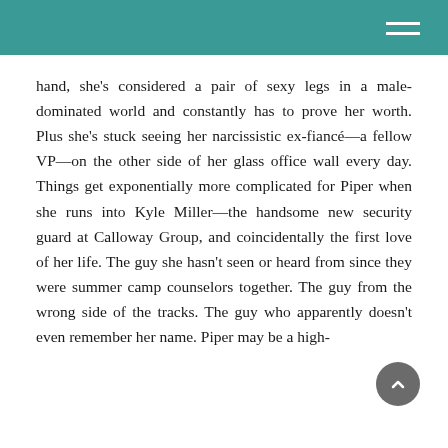hand, she's considered a pair of sexy legs in a male-dominated world and constantly has to prove her worth. Plus she's stuck seeing her narcissistic ex-fiancé—a fellow VP—on the other side of her glass office wall every day. Things get exponentially more complicated for Piper when she runs into Kyle Miller—the handsome new security guard at Calloway Group, and coincidentally the first love of her life. The guy she hasn't seen or heard from since they were summer camp counselors together. The guy from the wrong side of the tracks. The guy who apparently doesn't even remember her name. Piper may be a high-